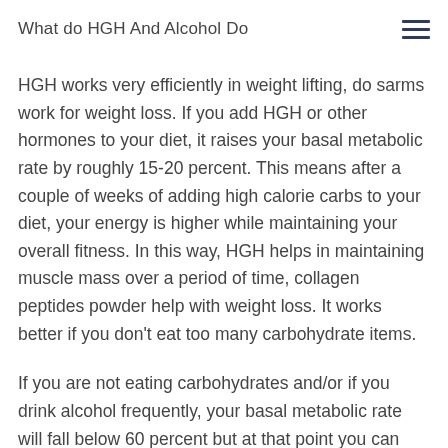What do HGH And Alcohol Do
HGH works very efficiently in weight lifting, do sarms work for weight loss. If you add HGH or other hormones to your diet, it raises your basal metabolic rate by roughly 15-20 percent. This means after a couple of weeks of adding high calorie carbs to your diet, your energy is higher while maintaining your overall fitness. In this way, HGH helps in maintaining muscle mass over a period of time, collagen peptides powder help with weight loss. It works better if you don't eat too many carbohydrate items.
If you are not eating carbohydrates and/or if you drink alcohol frequently, your basal metabolic rate will fall below 60 percent but at that point you can make up for it by using HGH, growth hormone peptides for fat loss. If you have to choose a high energy in